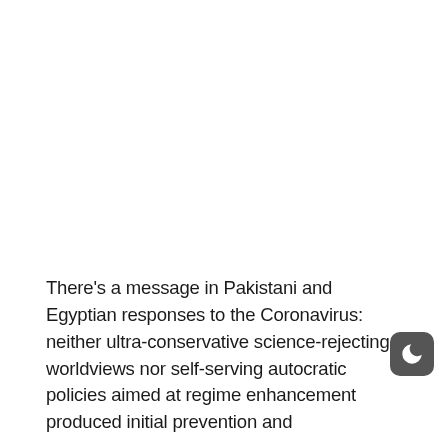There's a message in Pakistani and Egyptian responses to the Coronavirus: neither ultra-conservative science-rejecting worldviews nor self-serving autocratic policies aimed at regime enhancement produced initial prevention and